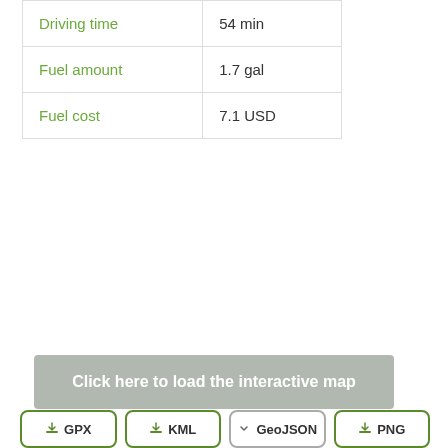|  |  |
| --- | --- |
| Driving time | 54 min |
| Fuel amount | 1.7 gal |
| Fuel cost | 7.1 USD |
Click here to load the interactive map
GPX
KML
GeoJSON
PNG